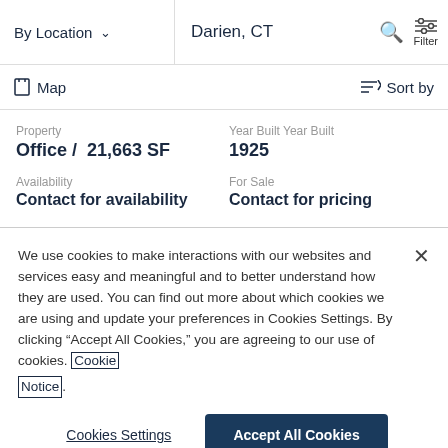By Location  Darien, CT  Filter
Map  Sort by
| Property | Year Built Year Built | Availability | For Sale |
| --- | --- | --- | --- |
| Office /  21,663 SF | 1925 | Contact for availability | Contact for pricing |
We use cookies to make interactions with our websites and services easy and meaningful and to better understand how they are used. You can find out more about which cookies we are using and update your preferences in Cookies Settings. By clicking “Accept All Cookies,” you are agreeing to our use of cookies. Cookie Notice.
Cookies Settings  Accept All Cookies